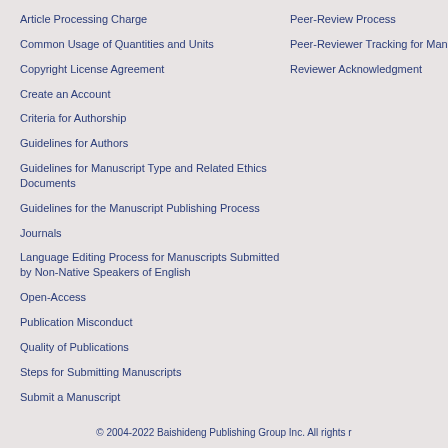Article Processing Charge
Common Usage of Quantities and Units
Copyright License Agreement
Create an Account
Criteria for Authorship
Guidelines for Authors
Guidelines for Manuscript Type and Related Ethics Documents
Guidelines for the Manuscript Publishing Process
Journals
Language Editing Process for Manuscripts Submitted by Non-Native Speakers of English
Open-Access
Publication Misconduct
Quality of Publications
Steps for Submitting Manuscripts
Submit a Manuscript
Peer-Review Process
Peer-Reviewer Tracking for Manuscripts
Reviewer Acknowledgment
© 2004-2022 Baishideng Publishing Group Inc. All rights r